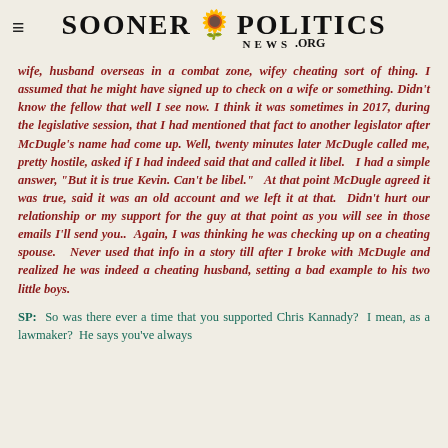SOONER NEWS POLITICS .ORG
wife, husband overseas in a combat zone, wifey cheating sort of thing. I assumed that he might have signed up to check on a wife or something. Didn't know the fellow that well I see now. I think it was sometimes in 2017, during the legislative session, that I had mentioned that fact to another legislator after McDugle's name had come up. Well, twenty minutes later McDugle called me, pretty hostile, asked if I had indeed said that and called it libel. I had a simple answer, "But it is true Kevin. Can't be libel." At that point McDugle agreed it was true, said it was an old account and we left it at that. Didn't hurt our relationship or my support for the guy at that point as you will see in those emails I'll send you.. Again, I was thinking he was checking up on a cheating spouse. Never used that info in a story till after I broke with McDugle and realized he was indeed a cheating husband, setting a bad example to his two little boys.
SP: So was there ever a time that you supported Chris Kannady? I mean, as a lawmaker? He says you've always